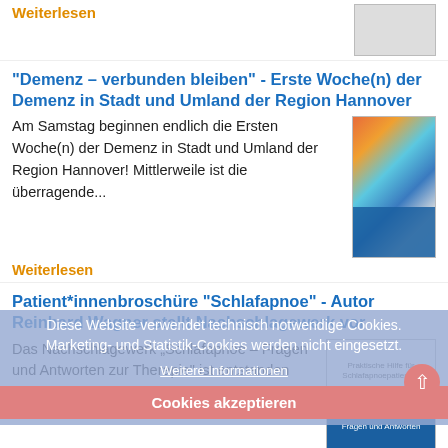Weiterlesen
"Demenz – verbunden bleiben" - Erste Woche(n) der Demenz in Stadt und Umland der Region Hannover
Am Samstag beginnen endlich die Ersten Woche(n) der Demenz in Stadt und Umland der Region Hannover! Mittlerweile ist die überragende...
Weiterlesen
Patient*innenbroschüre "Schlafapnoe" - Autor Reinhard Wagner stellt Nachschlagewerk vor
Das Nachschlagewerk „Schlafapnoe – Fragen und Antworten zur Therapie" ist entstanden aus Fragen, die von Betroffenen gestellt wurden. Der Verfasser...
Weiterlesen
Diese Website verwendet technisch notwendige Cookies. Marketing- und Statistik-Cookies werden nicht eingesetzt.
Weitere Informationen
Cookies akzeptieren
Gruppen in Gründung
Depression - Lehrte und Umgebung